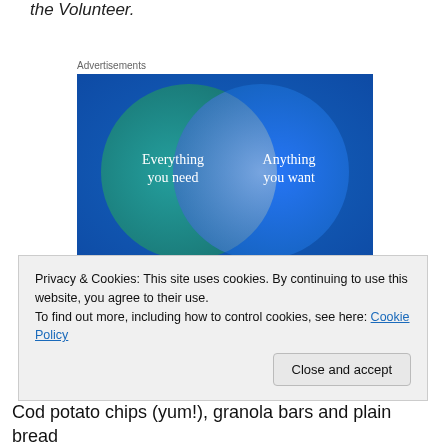the Volunteer.
Advertisements
[Figure (infographic): Venn diagram advertisement on dark blue/teal background showing two overlapping circles. Left circle (teal/green) labeled 'Everything you need', right circle (blue) labeled 'Anything you want', overlapping section is lighter blue.]
Privacy & Cookies: This site uses cookies. By continuing to use this website, you agree to their use.
To find out more, including how to control cookies, see here: Cookie Policy
Close and accept
Cod potato chips (yum!), granola bars and plain bread